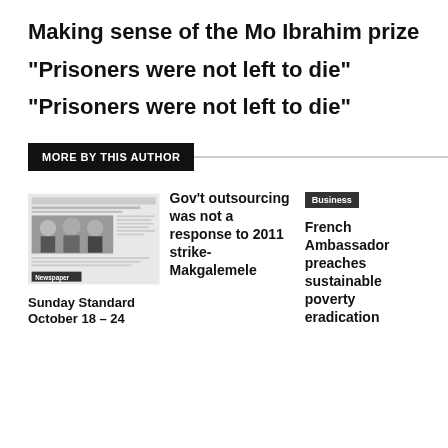Making sense of the Mo Ibrahim prize
“Prisoners were not left to die”
“Prisoners were not left to die”
MORE BY THIS AUTHOR
[Figure (photo): Newspaper front page image showing three men in suits with headline text, with a 'Newspaper' badge overlay]
Sunday Standard October 18 – 24
Gov’t outsourcing was not a response to 2011 strike-Makgalemele
Business
French Ambassador preaches sustainable poverty eradication